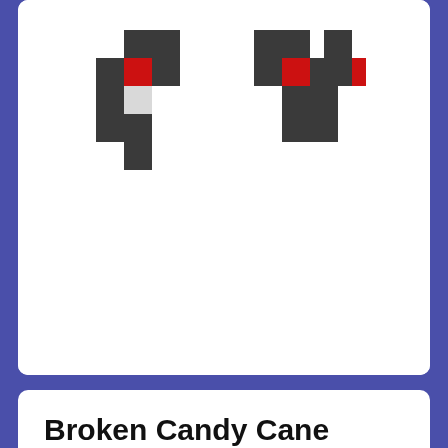[Figure (illustration): Pixel art of a Minecraft Elytra item — two wing-like shapes made of dark grey/charcoal, red, white/light grey pixel blocks on a white background, resembling a broken candy cane elytra sprite shown from the front.]
Broken Candy Cane Elytra
Minecraft Item for Minecraft Java Edition | by deleted-ao379e1y3ex8naexehjrwuy7
Broken Candy Cane Elytra was remixed from Elytra.
REMIX ITEM